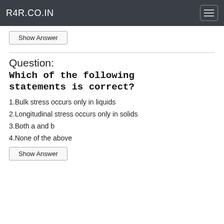R4R.CO.IN
Show Answer
Question: Which of the following statements is correct?
1.Bulk stress occurs only in liquids
2.Longitudinal stress occurs only in solids
3.Both a and b
4.None of the above
Show Answer